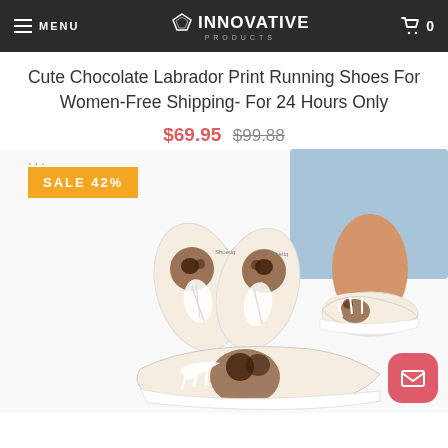MENU  INNOVATIVE PRODUCTS  0
Cute Chocolate Labrador Print Running Shoes For Women-Free Shipping- For 24 Hours Only
$69.95 $99.88
[Figure (photo): Product photo collage showing Chocolate Labrador print running shoes: two top-down/side views of the shoe pair on left, a model wearing the shoes on upper right, and a single shoe angled view at bottom center. An orange 'SALE 42%' badge overlaid on the top-left of the image area.]
SALE 42%